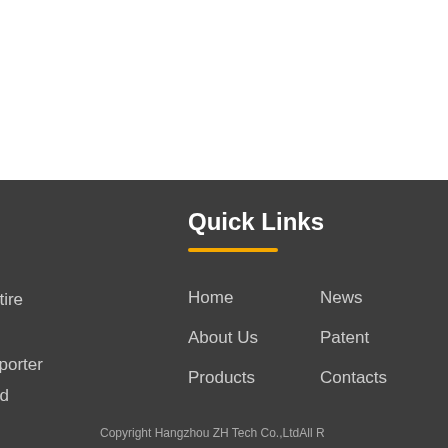Quick Links
Home
About Us
Products
News
Patent
Contacts
Copyright  Hangzhou ZH Tech Co.,LtdAll R